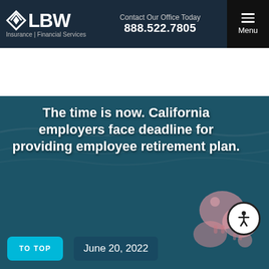LBW Insurance | Financial Services — Contact Our Office Today 888.522.7805 — Menu
[Figure (logo): LBW Insurance | Financial Services logo with diamond/arrow icon on dark navy background]
The time is now. California employers face deadline for providing employee retirement plan.
June 20, 2022